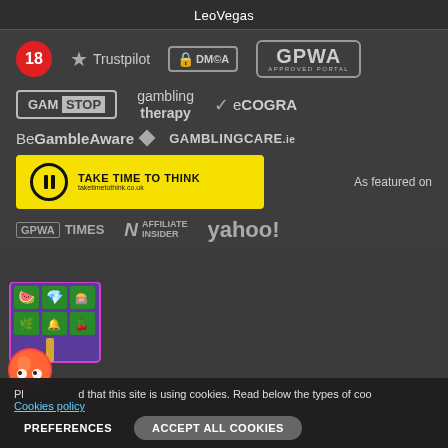LeoVegas
[Figure (logo): Trust badges row: 18+ badge (red circle), Trustpilot star logo, DMCA protected badge, GPWA Approved Portal badge]
[Figure (logo): Responsible gambling logos: GamStop, Gambling Therapy, eCOGRA]
[Figure (logo): BeGambleAware diamond logo and GAMBLINGCARE.ie logo]
[Figure (logo): Take Time To Think yellow banner with pause icon and taketimetothink.co.uk URL, plus 'As featured on' text]
[Figure (logo): As featured on logos: GPWA Times, Affiliate Insider, yahoo!]
[Figure (illustration): Slot machine game screenshot with fruit symbols and strawberry character]
Please note that this site is using cookies. Read below the types of cookies. Cookies policy
PREFERENCES
ACCEPT ALL COOKIES